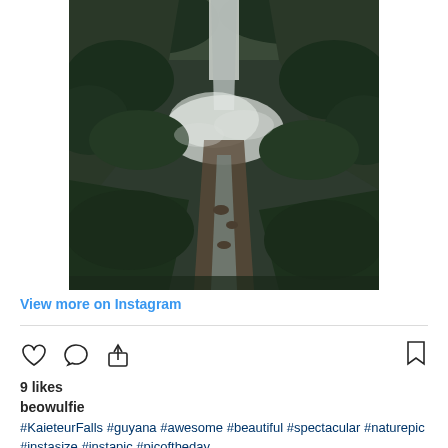[Figure (photo): Aerial view of Kaieteur Falls in Guyana, showing a large waterfall cascading down a cliff surrounded by dense green jungle, with mist and a rocky river flowing downstream.]
View more on Instagram
9 likes
beowulfie
#KaieteurFalls #guyana #awesome #beautiful #spectacular #naturepic #instasize #instapic #picoftheday